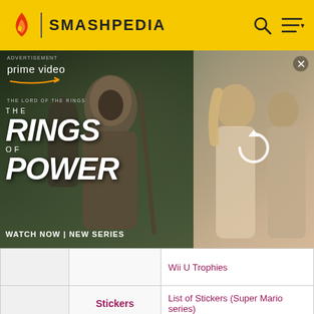SMASHPEDIA
[Figure (photo): Advertisement banner for Amazon Prime Video's 'The Lord of the Rings: The Rings of Power' TV series, showing hooded dark fantasy characters on left and blonde characters in light clothing on right, with a reload/refresh icon overlay.]
|  | Wii U Trophies | Wii U Trophies |
|  | Stickers | List of Stickers (Super Mario series) |
|  | Spirits | List of spirits (Mario series) |
|  | Masterpieces | Super Mario Bros. • Super Mario Bros. 2 • Super Mario Bros.: The Lost Levels • Super Mario World • Super Mario Kart • |